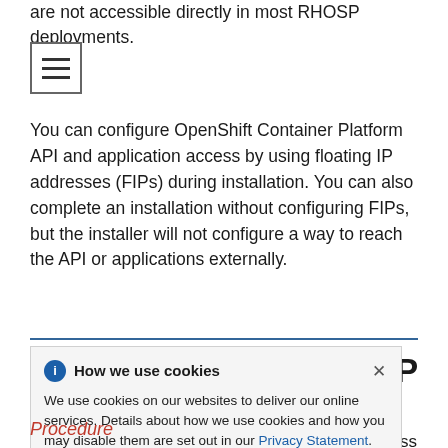are not accessible directly in most RHOSP deployments.
[Figure (other): Hamburger menu icon button (three horizontal lines)]
You can configure OpenShift Container Platform API and application access by using floating IP addresses (FIPs) during installation. You can also complete an installation without configuring FIPs, but the installer will not configure a way to reach the API or applications externally.
How we use cookies

We use cookies on our websites to deliver our online services. Details about how we use cookies and how you may disable them are set out in our Privacy Statement. By using this website you agree to our use of cookies.
Procedure